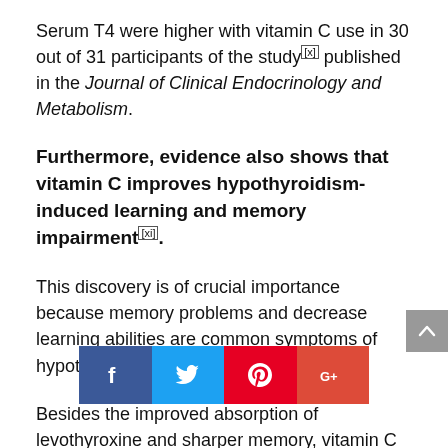Serum T4 were higher with vitamin C use in 30 out of 31 participants of the study[x] published in the Journal of Clinical Endocrinology and Metabolism.
Furthermore, evidence also shows that vitamin C improves hypothyroidism-induced learning and memory impairment[xi].
This discovery is of crucial importance because memory problems and decrease learning abilities are common symptoms of hypothyroidism.
Besides the improved absorption of levothyroxine and sharper memory, vitamin C can help lower cortisol levels which slow our metabolism leading to decreased production of T3 and T4.
[Figure (infographic): Social media share buttons: Facebook (blue), Twitter (light blue), Pinterest (red), Google+ (orange-red), and a scroll-to-top arrow button on the right.]